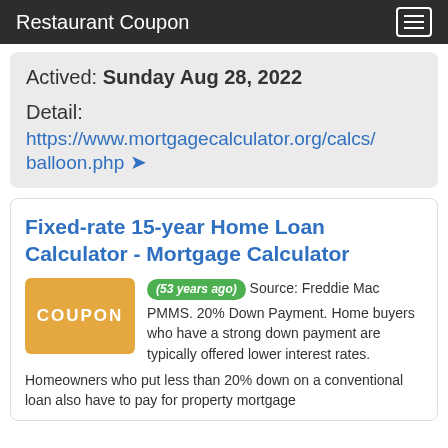Restaurant Coupon
Actived: Sunday Aug 28, 2022
Detail:
https://www.mortgagecalculator.org/calcs/balloon.php
Fixed-rate 15-year Home Loan Calculator - Mortgage Calculator
(53 years ago) Source: Freddie Mac PMMS. 20% Down Payment. Home buyers who have a strong down payment are typically offered lower interest rates. Homeowners who put less than 20% down on a conventional loan also have to pay for property mortgage